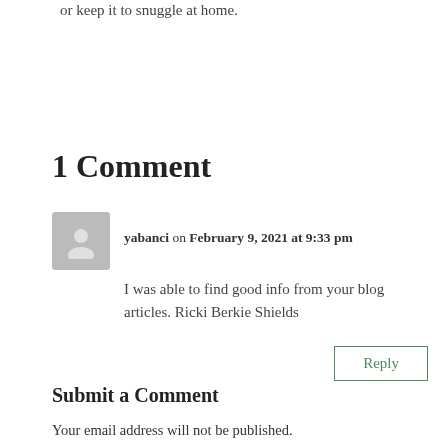or keep it to snuggle at home.
1 Comment
yabanci on February 9, 2021 at 9:33 pm
I was able to find good info from your blog articles. Ricki Berkie Shields
Reply
Submit a Comment
Your email address will not be published.